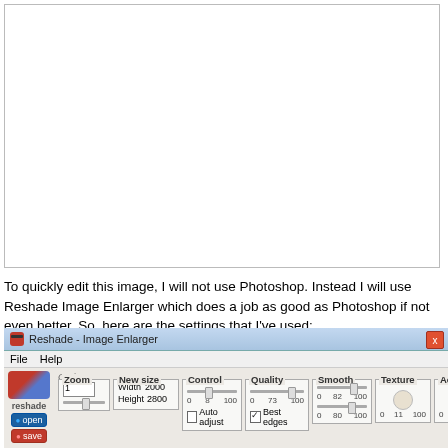[Figure (photo): Large white blank image area at top of page, bordered rectangle]
To quickly edit this image, I will not use Photoshop. Instead I will use Reshade Image Enlarger which does a job as good as Photoshop if not even better. So, here are the settings that I've used:
[Figure (screenshot): Screenshot of Reshade - Image Enlarger application window showing Options panel with Zoom (value 1), New size (Width 2000, Height 2800), Control slider (0-8-100), Quality slider (0-73-100 with Best edges checked), Smooth (0-82-100 and 0-80-100), Texture (0-11-100), Accuracy (0-34-100), and Advanced button]